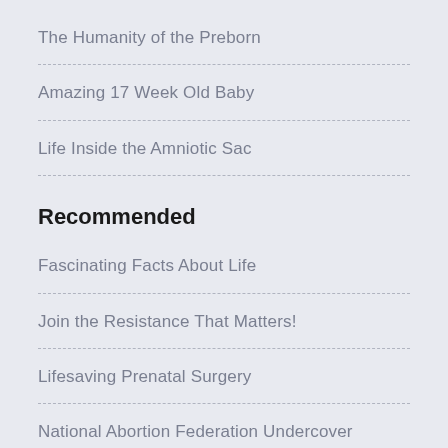The Humanity of the Preborn
Amazing 17 Week Old Baby
Life Inside the Amniotic Sac
Recommended
Fascinating Facts About Life
Join the Resistance That Matters!
Lifesaving Prenatal Surgery
National Abortion Federation Undercover
Planned Parenthood Denies Care